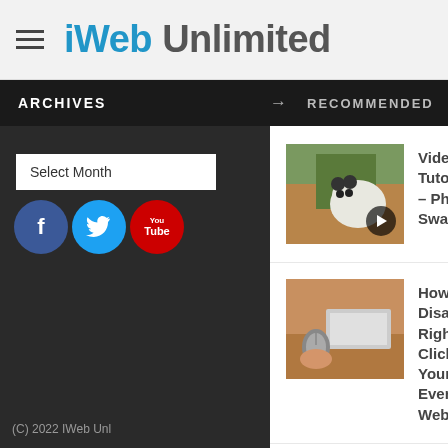iWeb Unlimited
ARCHIVES
→  RECOMMENDED
Select Month
[Figure (screenshot): Facebook, Twitter, YouTube social media icon buttons]
[Figure (screenshot): Thumbnail with panda image and video play button overlay]
Video Tutorial – Photo Swapper
[Figure (photo): Mouse on laptop/desk surface thumbnail]
How to Disable Right Click on Your Everweb Website
[Figure (screenshot): Flash in iWeb thumbnail showing Flash logo plus cork board icon]
iWeb Tip #1 – Flash in iWeb
(C) 2022 IWeb Unl